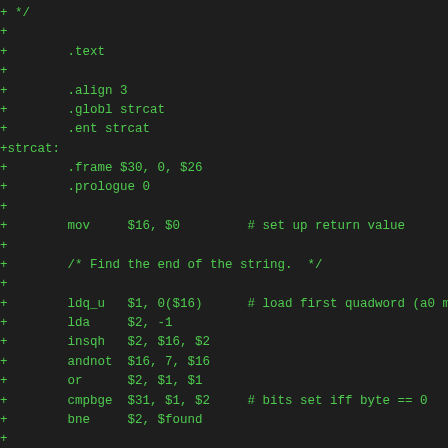+ */
+
+        .text
+
+        .align 3
+        .globl strcat
+        .ent strcat
+strcat:
+        .frame $30, 0, $26
+        .prologue 0
+
+        mov     $16, $0         # set up return value
+
+        /* Find the end of the string.  */
+
+        ldq_u   $1, 0($16)      # load first quadword (a0 may
+        lda     $2, -1
+        insqh   $2, $16, $2
+        andnot  $16, 7, $16
+        or      $2, $1, $1
+        cmpbge  $31, $1, $2     # bits set iff byte == 0
+        bne     $2, $found
+
+$loop:  ldq     $1, 8($16)
+        addq    $16, 8, $16